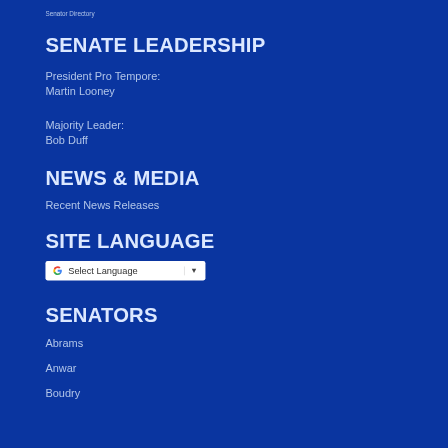Senator Directory
SENATE LEADERSHIP
President Pro Tempore:
Martin Looney
Majority Leader:
Bob Duff
NEWS & MEDIA
Recent News Releases
SITE LANGUAGE
[Figure (other): Google Translate widget showing 'Select Language' dropdown with Google G logo and dropdown arrow]
SENATORS
Abrams
Anwar
Boudry